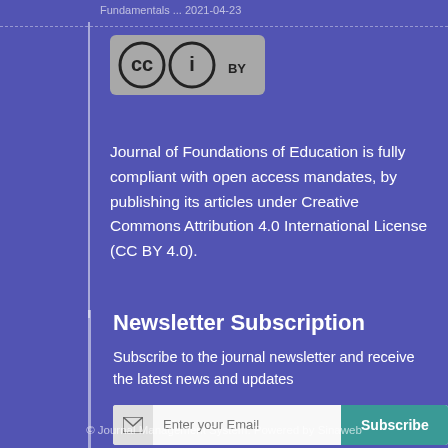Fundamentals ... 2021-04-23
[Figure (logo): Creative Commons Attribution (CC BY) license logo — circular CC icon and info icon with 'BY' text below, in a rounded rectangle badge]
Journal of Foundations of Education is fully compliant with open access mandates, by publishing its articles under Creative Commons Attribution 4.0 International License (CC BY 4.0).
Newsletter Subscription
Subscribe to the journal newsletter and receive the latest news and updates
[Figure (other): Email subscription bar with envelope icon, email input field placeholder 'Enter your Email', and a teal 'Subscribe' button]
[Figure (other): Social media icons: LinkedIn, Academic (A), and RSS feed icons]
© Journal Management System. Powered by Sinaweb